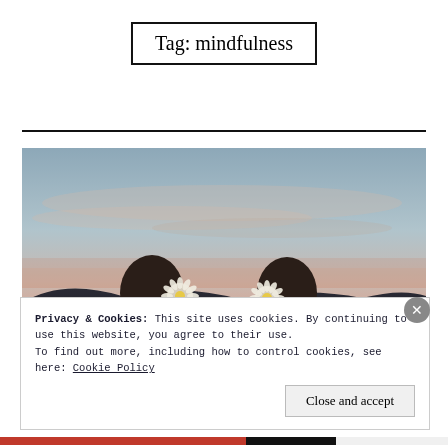Tag: mindfulness
[Figure (photo): Two women holding daisy flowers in front of their faces against a twilight sky with pink and blue clouds and distant hills.]
Privacy & Cookies: This site uses cookies. By continuing to use this website, you agree to their use.
To find out more, including how to control cookies, see here: Cookie Policy
Close and accept